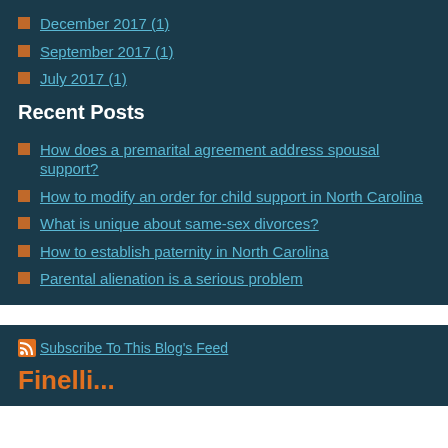December 2017 (1)
September 2017 (1)
July 2017 (1)
Recent Posts
How does a premarital agreement address spousal support?
How to modify an order for child support in North Carolina
What is unique about same-sex divorces?
How to establish paternity in North Carolina
Parental alienation is a serious problem
Subscribe To This Blog's Feed
Finelli...